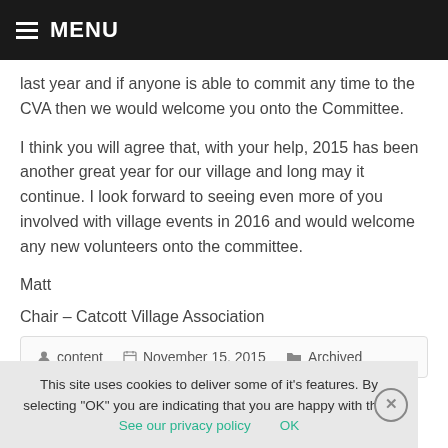MENU
last year and if anyone is able to commit any time to the CVA then we would welcome you onto the Committee.
I think you will agree that, with your help, 2015 has been another great year for our village and long may it continue. I look forward to seeing even more of you involved with village events in 2016 and would welcome any new volunteers onto the committee.
Matt
Chair – Catcott Village Association
content   November 15, 2015   Archived
This site uses cookies to deliver some of it's features. By selecting "OK" you are indicating that you are happy with this.  See our privacy policy    OK